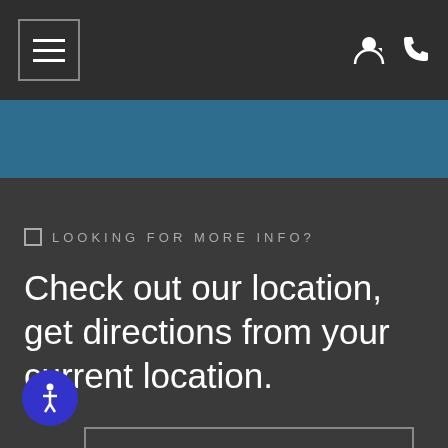Navigation bar with hamburger menu, user icon, and phone icon
LOOKING FOR MORE INFO?
Check out our location, get directions from your current location.
DIRECTIONS